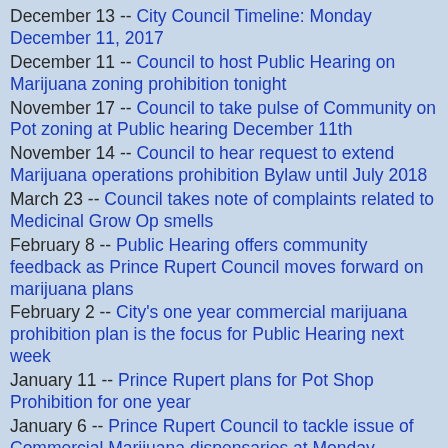December 13 -- City Council Timeline: Monday December 11, 2017
December 11 -- Council to host Public Hearing on Marijuana zoning prohibition tonight
November 17 -- Council to take pulse of Community on Pot zoning at Public hearing December 11th
November 14 -- Council to hear request to extend Marijuana operations prohibition Bylaw until July 2018
March 23 -- Council takes note of complaints related to Medicinal Grow Op smells
February 8 -- Public Hearing offers community feedback as Prince Rupert Council moves forward on marijuana plans
February 2 -- City's one year commercial marijuana prohibition plan is the focus for Public Hearing next week
January 11 -- Prince Rupert plans for Pot Shop Prohibition for one year
January 6 -- Prince Rupert Council to tackle issue of Commercial Marijuana dispensaries at Monday session
For more items of note related to this evening's City Council session see our Preview page here.
A wider review of City Council discussion topics is available